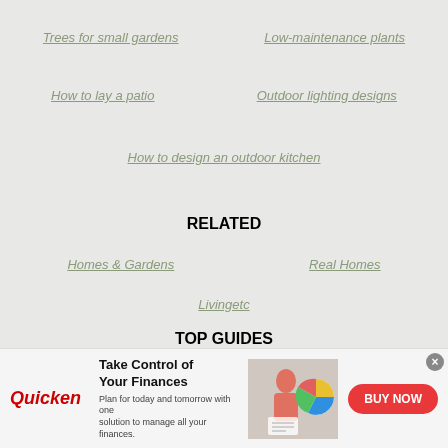Trees for small gardens
Low-maintenance plants
How to lay a patio
Outdoor lighting designs
How to design an outdoor kitchen
RELATED
Homes & Gardens
Real Homes
Livingetc
TOP GUIDES
Best BBQ
Best lawn mower
Best pizza oven
Best garden furniture stores
[Figure (screenshot): Quicken advertisement banner: Take Control of Your Finances - Plan for today and tomorrow with one solution to manage all your finances. BUY NOW button.]